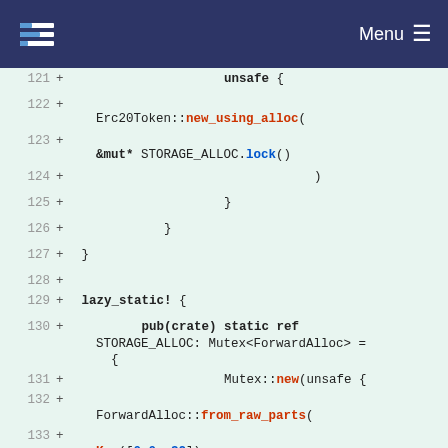Menu
[Figure (screenshot): Code diff view showing Rust source lines 121–135 with green background additions. Lines include unsafe block, Erc20Token::new_using_alloc, &mut* STORAGE_ALLOC.lock(), closing braces, lazy_static! block, pub(crate) static ref STORAGE_ALLOC: Mutex<ForwardAlloc>, Mutex::new(unsafe {, ForwardAlloc::from_raw_parts(, Key([0x0; 32]), closing parenthesis and brace lines.]